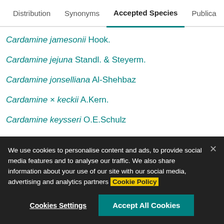Distribution | Synonyms | Accepted Species | Publica…
Cardamine jamesonii Hook.
Cardamine jejuna Standl. & Steyerm.
Cardamine jonselliana Al-Shehbaz
Cardamine × keckii A.Kern.
Cardamine keysseri O.E.Schulz
Cardamine × killiasii (Brügger) Brügger
Cardamine kitaibelii Bech.
We use cookies to personalise content and ads, to provide social media features and to analyse our traffic. We also share information about your use of our site with our social media, advertising and analytics partners Cookie Policy
Cookies Settings | Accept All Cookies